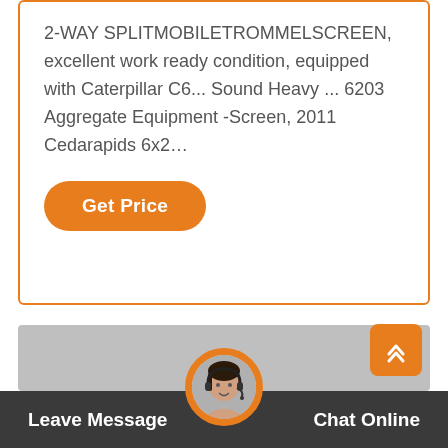2-WAY SPLITMOBILETROMMELSCREEN, excellent work ready condition, equipped with Caterpillar C6... Sound Heavy ... 6203 Aggregate Equipment -Screen, 2011 Cedarapids 6x2…
[Figure (screenshot): Orange rounded 'Get Price' button]
[Figure (photo): Large gray placeholder image area]
[Figure (photo): Chat support avatar - woman with headset in orange circle]
Leave Message
Chat Online